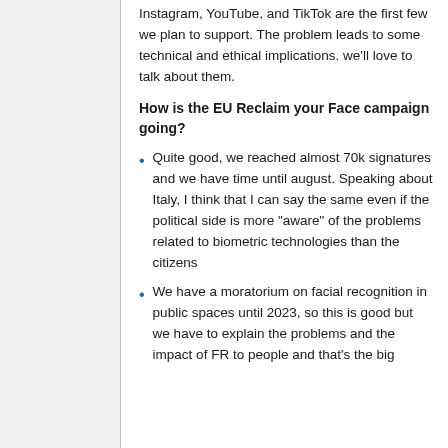Instagram, YouTube, and TikTok are the first few we plan to support. The problem leads to some technical and ethical implications. we'll love to talk about them.
How is the EU Reclaim your Face campaign going?
Quite good, we reached almost 70k signatures and we have time until august. Speaking about Italy, I think that I can say the same even if the political side is more "aware" of the problems related to biometric technologies than the citizens
We have a moratorium on facial recognition in public spaces until 2023, so this is good but we have to explain the problems and the impact of FR to people and that's the big